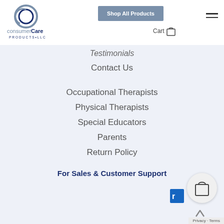[Figure (logo): Consumer Care Products LLC logo — circular C letter mark in blue, with text 'consumerCare PRODUCTS•LLC' below]
Shop All Products
Cart
Testimonials
Contact Us
Occupational Therapists
Physical Therapists
Special Educators
Parents
Return Policy
For Sales & Customer Support
Privacy · Terms